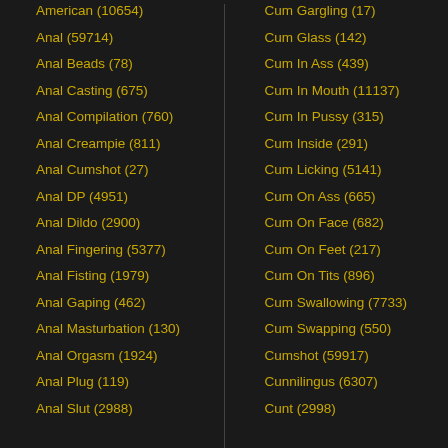American (10654)
Anal (59714)
Anal Beads (78)
Anal Casting (675)
Anal Compilation (760)
Anal Creampie (811)
Anal Cumshot (27)
Anal DP (4951)
Anal Dildo (2900)
Anal Fingering (5377)
Anal Fisting (1979)
Anal Gaping (462)
Anal Masturbation (130)
Anal Orgasm (1924)
Anal Plug (119)
Anal Slut (2988)
Cum Gargling (17)
Cum Glass (142)
Cum In Ass (439)
Cum In Mouth (11137)
Cum In Pussy (315)
Cum Inside (291)
Cum Licking (5141)
Cum On Ass (665)
Cum On Face (682)
Cum On Feet (217)
Cum On Tits (896)
Cum Swallowing (7733)
Cum Swapping (550)
Cumshot (59917)
Cunnilingus (6307)
Cunt (2998)